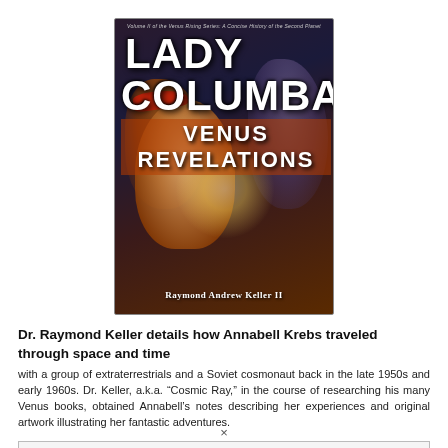[Figure (illustration): Book cover of 'Lady Columba Venus Revelations' by Raymond Andrew Keller II. Dark background with dramatic imagery of a woman's face, glowing light, and a second figure. Title text in large bold white letters.]
Dr. Raymond Keller details how Annabell Krebs traveled through space and time
with a group of extraterrestrials and a Soviet cosmonaut back in the late 1950s and early 1960s. Dr. Keller, a.k.a. “Cosmic Ray,” in the course of researching his many Venus books, obtained Annabell’s notes describing her experiences and original artwork illustrating her fantastic adventures.
To explore the vast and wondrous regions of time and space
×